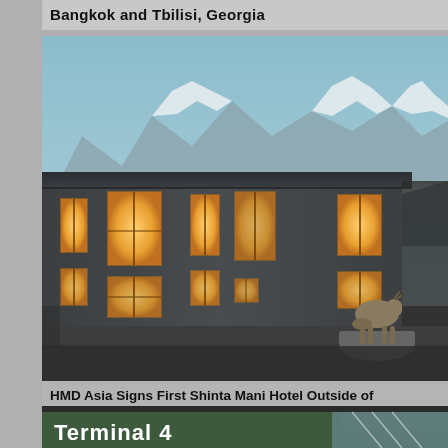Bangkok and Tbilisi, Georgia
[Figure (photo): Stone hotel building with glowing orange windows set against snow-capped mountains at dusk; a yak grazes in the foreground]
HMD Asia Signs First Shinta Mani Hotel Outside of Cambodia
[Figure (photo): Exterior sign reading Terminal 4 on a building with green vegetation wall and glass canopy]